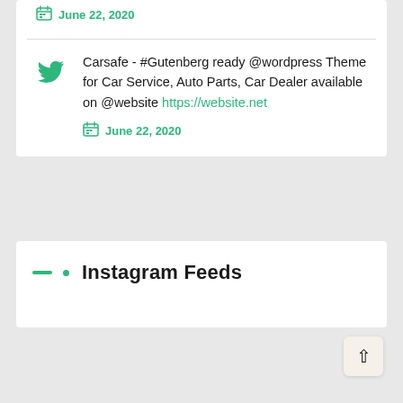June 22, 2020
Carsafe - #Gutenberg ready @wordpress Theme for Car Service, Auto Parts, Car Dealer available on @website https://website.net
June 22, 2020
Instagram Feeds